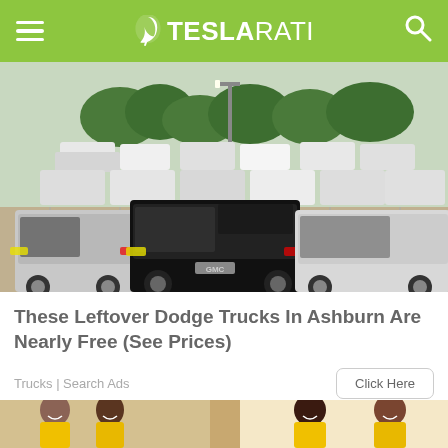TESLARATI
[Figure (photo): Aerial/lot view of many pickup trucks (GMC/Dodge) parked in rows at a dealership lot]
These Leftover Dodge Trucks In Ashburn Are Nearly Free (See Prices)
Trucks | Search Ads
[Figure (photo): Women in yellow polo shirts smiling, appearing to be home service or cleaning company workers]